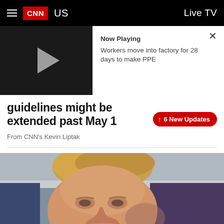CNN US | Live TV
[Figure (screenshot): Video player thumbnail (dark background with play button) showing 'Now Playing: Workers move into factory for 28 days to make PPE']
guidelines might be extended past May 1
6 New Updates
From CNN's Kevin Liptak
[Figure (photo): Close-up photo of Donald Trump at a podium or press briefing]